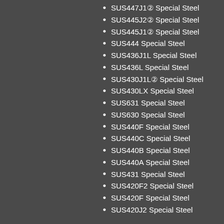SUS447J1② Special Steel
SUS445J2② Special Steel
SUS445J1② Special Steel
SUS444 Special Steel
SUS436J1L Special Steel
SUS436L Special Steel
SUS430J1L② Special Steel
SUS430LX Special Steel
SUS631 Special Steel
SUS630 Special Steel
SUS440F Special Steel
SUS440C Special Steel
SUS440B Special Steel
SUS440A Special Steel
SUS431 Special Steel
SUS420F2 Special Steel
SUS420F Special Steel
SUS420J2 Special Steel